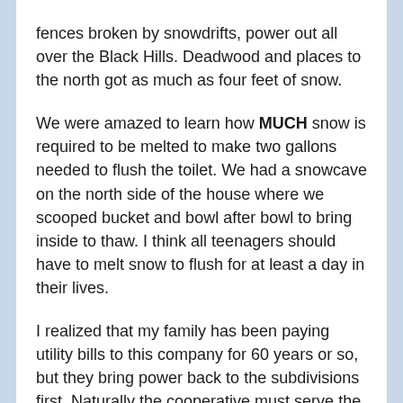fences broken by snowdrifts, power out all over the Black Hills. Deadwood and places to the north got as much as four feet of snow.
We were amazed to learn how MUCH snow is required to be melted to make two gallons needed to flush the toilet. We had a snowcave on the north side of the house where we scooped bucket and bowl after bowl to bring inside to thaw. I think all teenagers should have to melt snow to flush for at least a day in their lives.
I realized that my family has been paying utility bills to this company for 60 years or so, but they bring power back to the subdivisions first. Naturally the cooperative must serve the greatest number first, but ironically it means that people who have been here the shortest time have the least understanding of how difficult life can be without electricity.